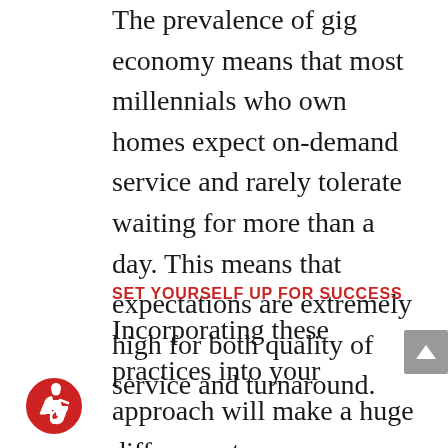The prevalence of gig economy means that most millennials who own homes expect on-demand service and rarely tolerate waiting for more than a day. This means that expectations are extremely high for both quality of service and turnaround.
SET YOURSELF UP FOR SUCCESS
Incorporating these practices into your approach will make a huge difference to your success as an HVAC tech. The job is dramatically different than it was 20 years ago, and it's important to adapt to the changing times. If there is one common theme for the HVAC industry
[Figure (illustration): Accessibility icon — red circle with white wheelchair user symbol]